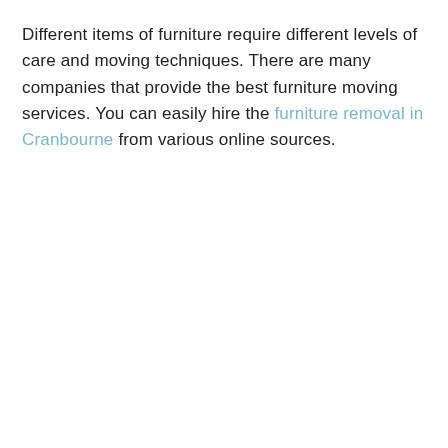Different items of furniture require different levels of care and moving techniques. There are many companies that provide the best furniture moving services. You can easily hire the furniture removal in Cranbourne from various online sources.